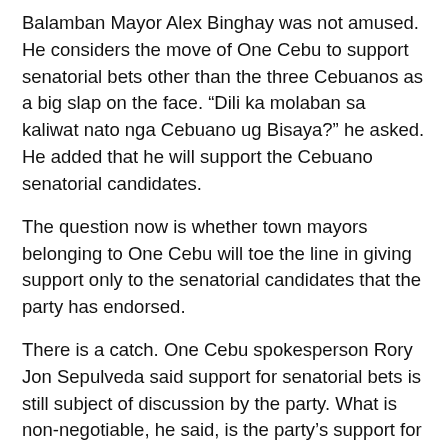Balamban Mayor Alex Binghay was not amused. He considers the move of One Cebu to support senatorial bets other than the three Cebuanos as a big slap on the face. “Dili ka molaban sa kaliwat nato nga Cebuano ug Bisaya?” he asked. He added that he will support the Cebuano senatorial candidates.
The question now is whether town mayors belonging to One Cebu will toe the line in giving support only to the senatorial candidates that the party has endorsed.
There is a catch. One Cebu spokesperson Rory Jon Sepulveda said support for senatorial bets is still subject of discussion by the party. What is non-negotiable, he said, is the party’s support for presidential bet Gibo Teodoro.
Are we to understand that support for the senatorial candidates endorsed by One Cebu chairperson, Gov. Gwen Garcia, will depend on how fast they can deliver the promised logistics?